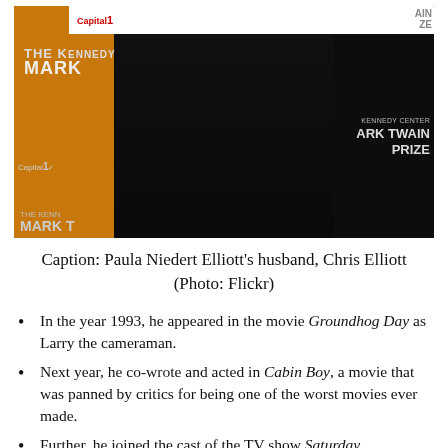[Figure (photo): A man in a black suit adjusting his jacket lapels, standing in front of a Kennedy Center Mark Twain Prize event backdrop with Capital One sponsorship logos. The backdrop alternates between orange and white sections.]
Caption: Paula Niedert Elliott's husband, Chris Elliott (Photo: Flickr)
In the year 1993, he appeared in the movie Groundhog Day as Larry the cameraman.
Next year, he co-wrote and acted in Cabin Boy, a movie that was panned by critics for being one of the worst movies ever made.
Further, he joined the cast of the TV show Saturday